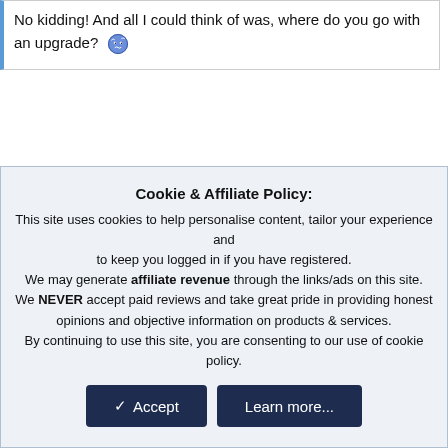No kidding! And all I could think of was, where do you go with an upgrade? 😵
Cookie & Affiliate Policy: This site uses cookies to help personalise content, tailor your experience and to keep you logged in if you have registered. We may generate affiliate revenue through the links/ads on this site. We NEVER accept paid reviews and take great pride in providing honest opinions and objective information on products & services. By continuing to use this site, you are consenting to our use of cookie policy.